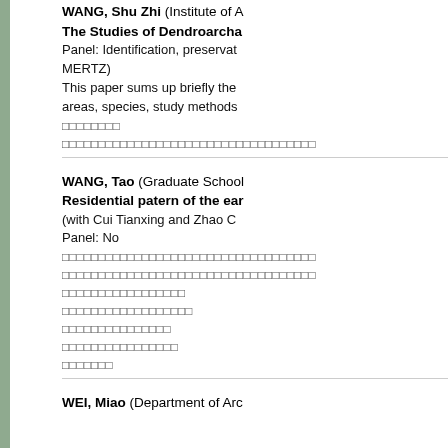WANG, Shu Zhi (Institute of A...) The Studies of Dendroarcha... Panel: Identification, preservat... MERTZ) This paper sums up briefly the areas, species, study methods... [CJK text] [CJK text]
WANG, Tao (Graduate School...) Residential patern of the ear... (with Cui Tianxing and Zhao C...) Panel: No [CJK text lines]
WEI, Miao (Department of Arc...)